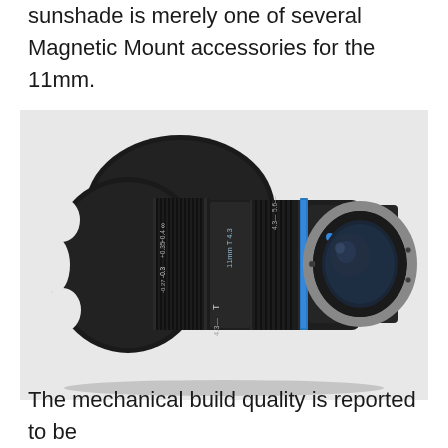sunshade is merely one of several Magnetic Mount accessories for the 11mm.
[Figure (photo): A black cinema lens (Irix 11mm T4.3) shown at an angle, with blue accent ring near the mount, gear rings for focus and aperture, and visible lens elements at the rear mount side. The lens has markings for aperture and focus distances.]
The mechanical build quality is reported to be